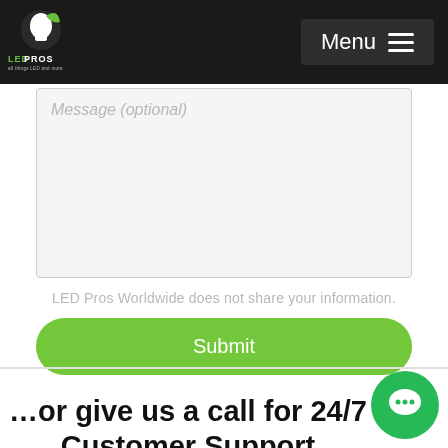LED Pros — Menu
Message (optional)
LED Pros Worldwide does not share your information.
Submit
…or give us a call for 24/7 Customer Support